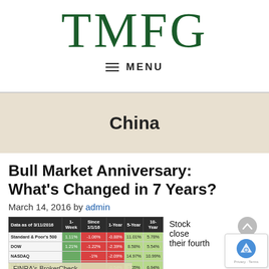TMFG
MENU
China
Bull Market Anniversary: What's Changed in 7 Years?
March 14, 2016 by admin
| Data as of 3/11/2016 | 1-Week | Since 1/1/16 | 1-Year | 5-Year | 10-Year |
| --- | --- | --- | --- | --- | --- |
| Standard & Poor's 500 | 1.11% | -1.06% | -0.88% | 11.01% | 5.78% |
| DOW | 1.21% | -1.22% | -2.39% | 8.58% | 5.54% |
| NASDAQ |  | -1% | -2.09% | 14.97% | 10.99% |
| U.S. Corporate Bond Index |  |  | -0.54% | 5.05% | 6.94% |
Stock close their fourth